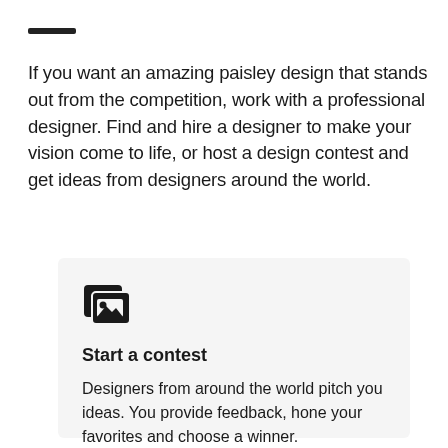If you want an amazing paisley design that stands out from the competition, work with a professional designer. Find and hire a designer to make your vision come to life, or host a design contest and get ideas from designers around the world.
[Figure (illustration): Dark icon showing stacked image/photo cards symbol]
Start a contest
Designers from around the world pitch you ideas. You provide feedback, hone your favorites and choose a winner.